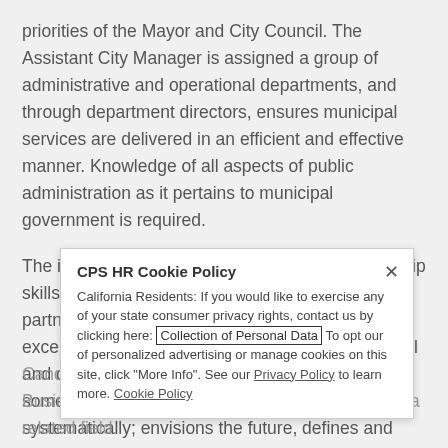priorities of the Mayor and City Council. The Assistant City Manager is assigned a group of administrative and operational departments, and through department directors, ensures municipal services are delivered in an efficient and effective manner. Knowledge of all aspects of public administration as it pertains to municipal government is required.
The ideal candidate must possess strong leadership skills and be a creative thinker, problem-solver, partnership builder, and someone who possesses exceptional analytical, organizational, interpersonal and communication skills. The candidate must be someone who thinks conceptually and systematically; envisions the future, defines and articulates the vision; is resilient and able to exercise and understands the political environment, priorities, processes and external factors impacting the city organization.
Candidates shall have a bachelor's degree in Business Administration, Public Administration, or a related field.
CPS HR Cookie Policy
California Residents: If you would like to exercise any of your state consumer privacy rights, contact us by clicking here: Collection of Personal Data To opt our of personalized advertising or manage cookies on this site, click "More Info". See our Privacy Policy to learn more. Cookie Policy